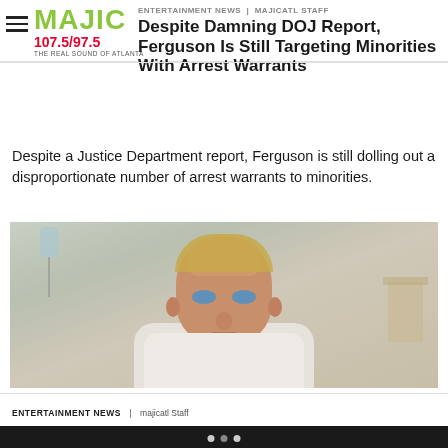ENTERTAINMENT NEWS | majicatl Staff
Despite Damning DOJ Report, Ferguson Is Still Targeting Minorities With Arrest Warrants
Despite a Justice Department report, Ferguson is still dolling out a disproportionate number of arrest warrants to minorities.
[Figure (photo): Close-up photo of a man with short blond hair and blue eyes wearing a white shirt, appearing to be in a medical or institutional setting]
ENTERTAINMENT NEWS | majicatl Staff
Darren Wilson Claims Ferguson Wasn't About